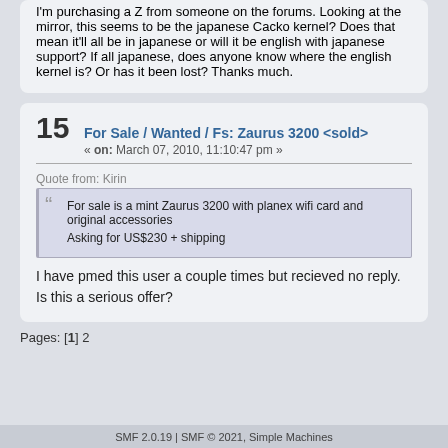I'm purchasing a Z from someone on the forums. Looking at the mirror, this seems to be the japanese Cacko kernel? Does that mean it'll all be in japanese or will it be english with japanese support? If all japanese, does anyone know where the english kernel is? Or has it been lost? Thanks much.
15
For Sale / Wanted / Fs: Zaurus 3200 <sold>
« on: March 07, 2010, 11:10:47 pm »
Quote from: Kirin
For sale is a mint Zaurus 3200 with planex wifi card and original accessories

Asking for US$230 + shipping
I have pmed this user a couple times but recieved no reply. Is this a serious offer?
Pages: [1] 2
SMF 2.0.19 | SMF © 2021, Simple Machines